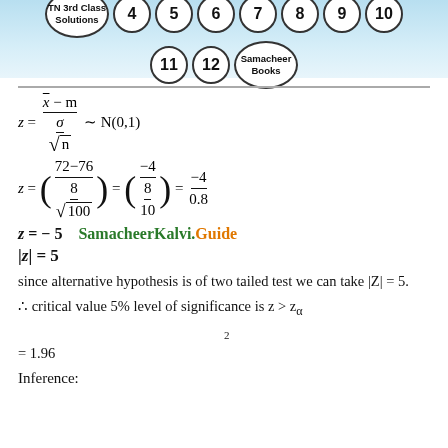TN 3rd Class Solutions | 4 5 6 7 8 9 10 | 11 12 Samacheer Books
since alternative hypothesis is of two tailed test we can take |Z| = 5.
∴ critical value 5% level of significance is z > z α/2 = 1.96
Inference: